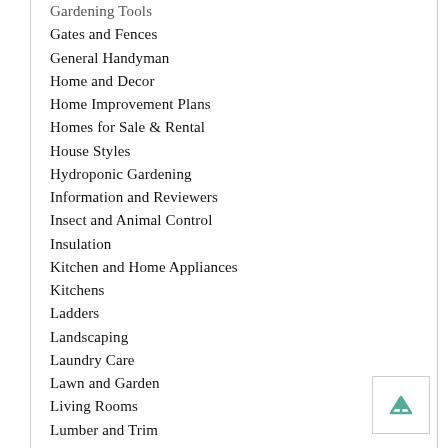Gardening Tools
Gates and Fences
General Handyman
Home and Decor
Home Improvement Plans
Homes for Sale & Rental
House Styles
Hydroponic Gardening
Information and Reviewers
Insect and Animal Control
Insulation
Kitchen and Home Appliances
Kitchens
Ladders
Landscaping
Laundry Care
Lawn and Garden
Living Rooms
Lumber and Trim